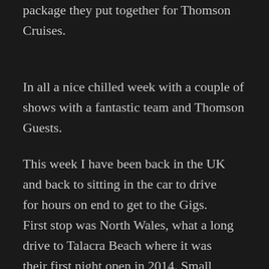package they put together for Thomson Cruises.
In all a nice chilled week with a couple of shows with a fantastic team and Thomson Guests.
This week I have been back in the UK and back to sitting in the car to drive for hours on end to get to the Gigs. First stop was North Wales, what a long drive to Talacra Beach where it was their first night open in 2014.  Small crowd but had a good night.
Tuesday evening I was at  Seacroft Holiday Village Hemsby, to entertain at a Ballroom